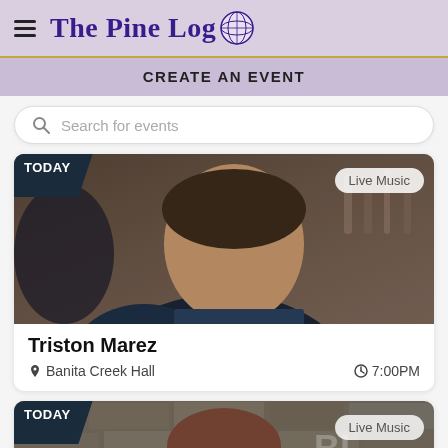The Pine Log
CREATE AN EVENT
Search for events
[Figure (photo): Photo of Triston Marez, a man in a dark blue shirt in a bar/restaurant setting, with TODAY badge and Live Music category badge]
Triston Marez
Banita Creek Hall  7:00PM
[Figure (photo): Partial photo of another artist, a man with beard in front of a stone wall, with TODAY badge and Live Music category badge]